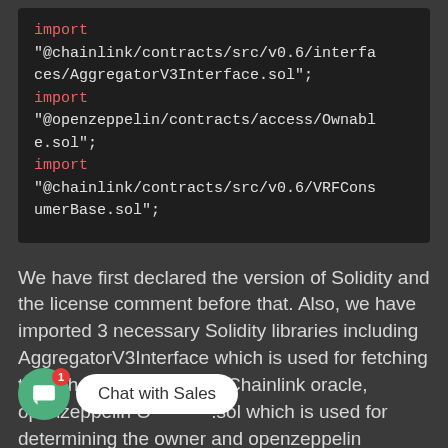[Figure (screenshot): Code block showing Solidity import statements: import '@chainlink/contracts/src/v0.6/interfaces/AggregatorV3Interface.sol'; import '@openzeppelin/contracts/access/Ownable.sol'; import '@chainlink/contracts/src/v0.6/VRFConsumerBase.sol';]
We have first declared the version of Solidity and the license comment before that. Also, we have imported 3 necessary Solidity libraries including AggregatorV3Interface which is used for fetching the Ethereum price from Chainlink oracle, openzeppelin Ownable.sol which is used for determining the owner and openzeppelin VRFConsumer.sol which is used to get a random number.